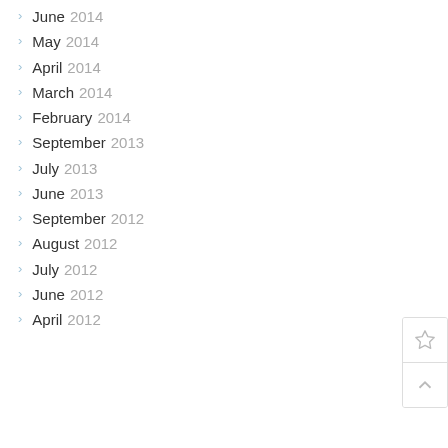June 2014
May 2014
April 2014
March 2014
February 2014
September 2013
July 2013
June 2013
September 2012
August 2012
July 2012
June 2012
April 2012